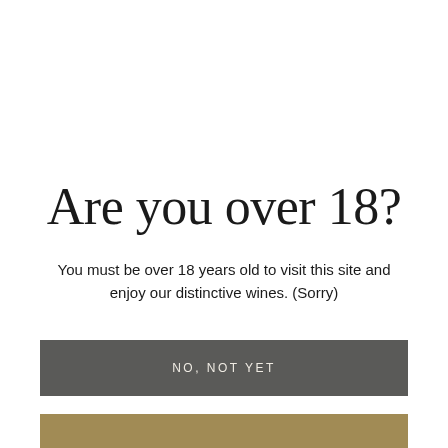Are you over 18?
You must be over 18 years old to visit this site and enjoy our distinctive wines. (Sorry)
NO, NOT YET